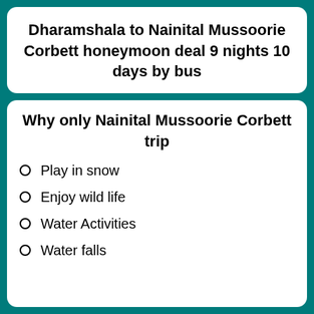Dharamshala to Nainital Mussoorie Corbett honeymoon deal 9 nights 10 days by bus
Why only Nainital Mussoorie Corbett trip
Play in snow
Enjoy wild life
Water Activities
Water falls